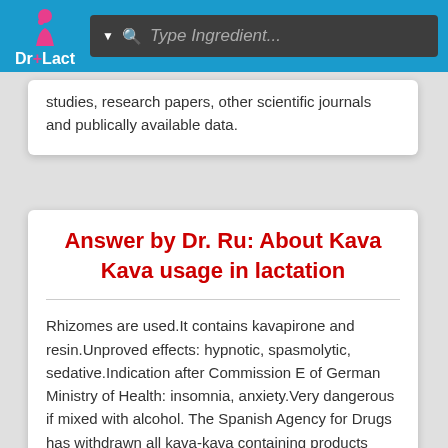[Figure (logo): Dr+Lact logo with pink figure icon and blue background navigation bar with search field]
studies, research papers, other scientific journals and publically available data.
Answer by Dr. Ru: About Kava Kava usage in lactation
Rhizomes are used.It contains kavapirone and resin.Unproved effects: hypnotic, spasmolytic, sedative.Indication after Commission E of German Ministry of Health: insomnia, anxiety.Very dangerous if mixed with alcohol. The Spanish Agency for Drugs has withdrawn all kava-kava containing products from the market after several cases of overwhelming hepatic failure have